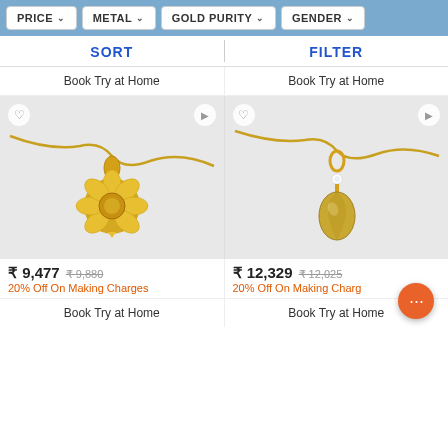PRICE | METAL | GOLD PURITY | GENDER
SORT | FILTER
Book Try at Home
Book Try at Home
[Figure (photo): Gold flower-shaped pendant with yellow stone on gold chain, light grey background]
[Figure (photo): Gold teardrop pendant with yellow gemstone and small diamond on gold chain, light grey background]
₹ 9,477  ₹ 9,880
20% Off On Making Charges
₹ 12,329  ₹ 12,025
20% Off On Making Charges
Book Try at Home
Book Try at Home